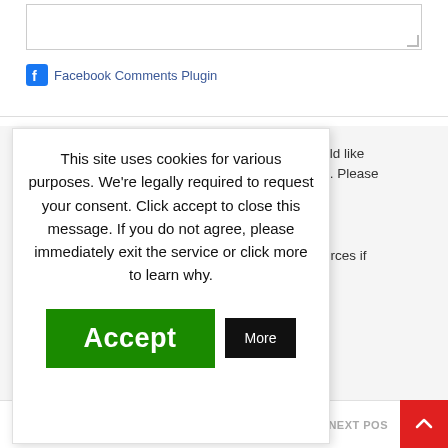[Figure (screenshot): Textarea input box at top of page]
Facebook Comments Plugin
cy or would like w about it. Please
e any sources if
This site uses cookies for various purposes. We're legally required to request your consent. Click accept to close this message. If you do not agree, please immediately exit the service or click more to learn why.
Accept
More
NEXT POS